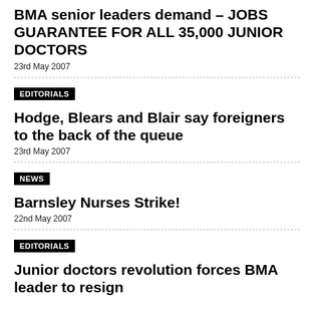BMA senior leaders demand – JOBS GUARANTEE FOR ALL 35,000 JUNIOR DOCTORS
23rd May 2007
EDITORIALS
Hodge, Blears and Blair say foreigners to the back of the queue
23rd May 2007
NEWS
Barnsley Nurses Strike!
22nd May 2007
EDITORIALS
Junior doctors revolution forces BMA leader to resign